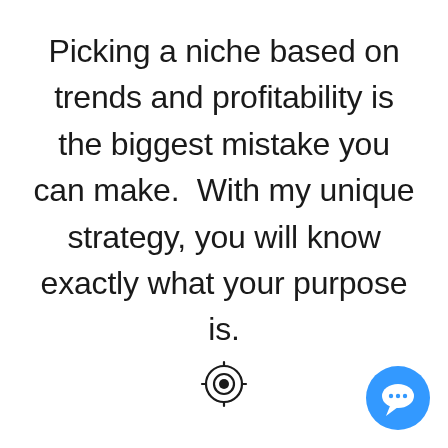Picking a niche based on trends and profitability is the biggest mistake you can make.  With my unique strategy, you will know exactly what your purpose is.
[Figure (illustration): Crosshair / target icon (GPS-style locator symbol) centered in lower portion of page]
[Figure (illustration): Blue circular chat bubble icon in bottom-right corner]